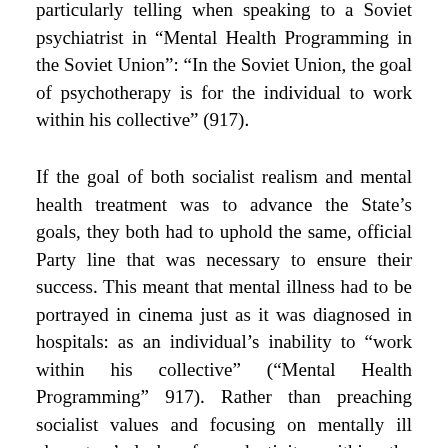particularly telling when speaking to a Soviet psychiatrist in “Mental Health Programming in the Soviet Union”: “In the Soviet Union, the goal of psychotherapy is for the individual to work within his collective” (917).
If the goal of both socialist realism and mental health treatment was to advance the State’s goals, they both had to uphold the same, official Party line that was necessary to ensure their success. This meant that mental illness had to be portrayed in cinema just as it was diagnosed in hospitals: as an individual’s inability to “work within his collective” (“Mental Health Programming” 917). Rather than preaching socialist values and focusing on mentally ill characters’ lack of productivity within the “collective,” Cranes Are Flying and Beware of the Automobile focus on characters’ development, which does not serve as a “model” for future socialists, and on their mental illness as it